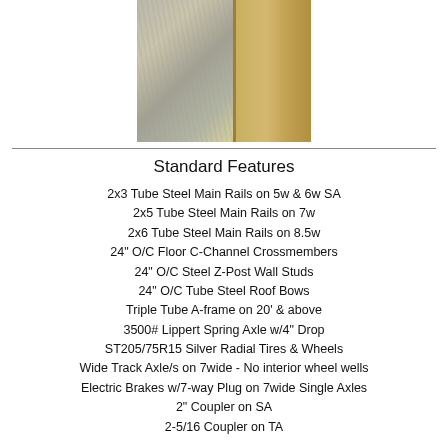[Figure (photo): Close-up photo of trailer construction materials showing metal framing and OSB/wood composite board interior panel.]
Standard Features
2x3 Tube Steel Main Rails on 5w & 6w SA
2x5 Tube Steel Main Rails on 7w
2x6 Tube Steel Main Rails on 8.5w
24" O/C Floor C-Channel Crossmembers
24" O/C Steel Z-Post Wall Studs
24" O/C Tube Steel Roof Bows
Triple Tube A-frame on 20' & above
3500# Lippert Spring Axle w/4" Drop
ST205/75R15 Silver Radial Tires & Wheels
Wide Track Axle/s on 7wide - No interior wheel wells
Electric Brakes w/7-way Plug on 7wide Single Axles
2" Coupler on SA
2-5/16 Coupler on TA